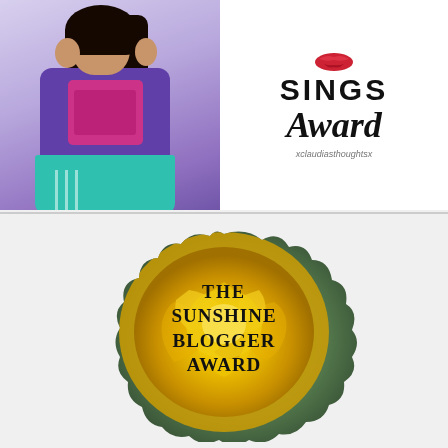[Figure (illustration): Top banner showing a young woman in a purple jacket and teal skirt holding something near her face, next to text reading 'SINGS Award' in script font with red lips icon and 'xclaudiasthoughtsx' watermark]
[Figure (illustration): The Sunshine Blogger Award badge - a yellow rose flower with wavy/scalloped edges on a blurred green background, with text 'THE SUNSHINE BLOGGER AWARD' overlaid in the center in uppercase serif font]